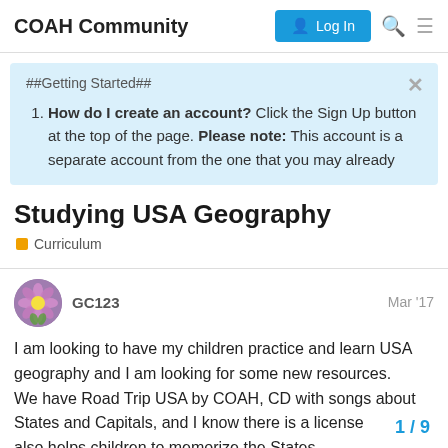COAH Community  Log In
##Getting Started##
How do I create an account? Click the Sign Up button at the top of the page. Please note: This account is a separate account from the one that you may already
Studying USA Geography
Curriculum
GC123   Mar '17
I am looking to have my children practice and learn USA geography and I am looking for some new resources. We have Road Trip USA by COAH, CD with songs about States and Capitals, and I know there is a license also helps children to memorize the States
1 / 9